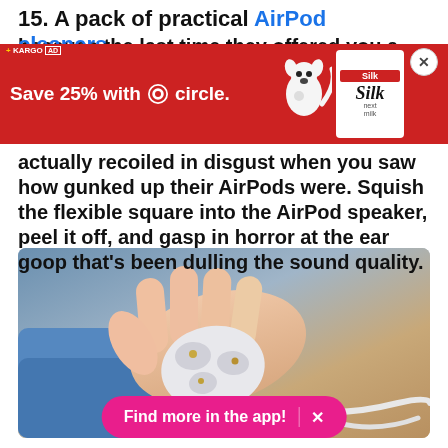15. A pack of practical AirPod cleaners
because the last time they offered you a earbud/earphone situation, you actually recoiled in disgust when you saw how gunked up their AirPods were. Squish the flexible square into the AirPod speaker, peel it off, and gasp in horror at the ear goop that's been dulling the sound quality.
[Figure (photo): A hand holding a white flexible AirPod cleaner pad with ear goop removed from AirPod speakers, shown against a blue and beige background.]
Find more in the app!